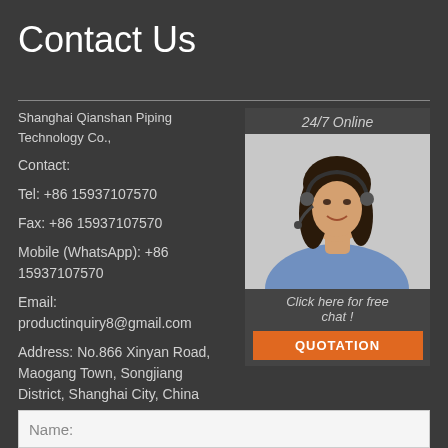Contact Us
Shanghai Qianshan Piping Technology Co.,
Contact:
Tel: +86 15937107570
Fax: +86 15937107570
Mobile (WhatsApp): +86 15937107570
Email: productinquiry8@gmail.com
Address: No.866 Xinyan Road, Maogang Town, Songjiang District, Shanghai City, China
[Figure (photo): Customer service agent woman with headset, 24/7 Online label and Click here for free chat text, with orange QUOTATION button]
Name: